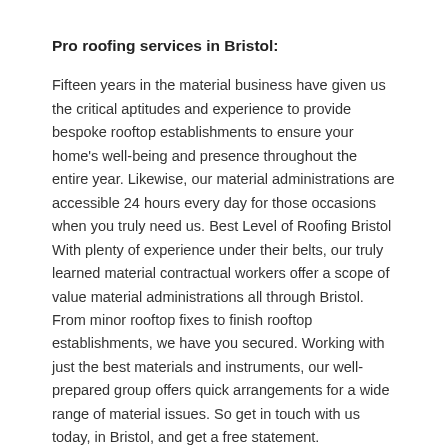Pro roofing services in Bristol:
Fifteen years in the material business have given us the critical aptitudes and experience to provide bespoke rooftop establishments to ensure your home's well-being and presence throughout the entire year. Likewise, our material administrations are accessible 24 hours every day for those occasions when you truly need us. Best Level of Roofing Bristol With plenty of experience under their belts, our truly learned material contractual workers offer a scope of value material administrations all through Bristol. From minor rooftop fixes to finish rooftop establishments, we have you secured. Working with just the best materials and instruments, our well-prepared group offers quick arrangements for a wide range of material issues. So get in touch with us today, in Bristol, and get a free statement.
Category: Music